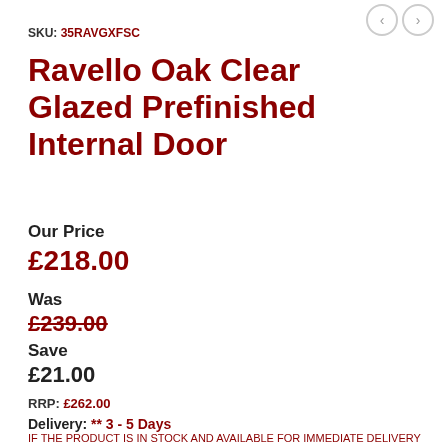SKU: 35RAVGXFSC
Ravello Oak Clear Glazed Prefinished Internal Door
Our Price
£218.00
Was
£239.00
Save
£21.00
RRP: £262.00
Delivery: ** 3 - 5 Days
IF THE PRODUCT IS IN STOCK AND AVAILABLE FOR IMMEDIATE DELIVERY